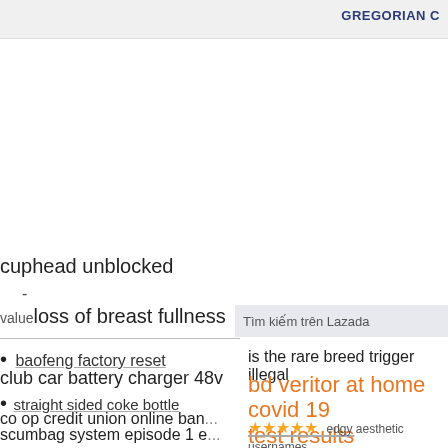GREGORIAN C
cuphead unblocked
-
value loss of breast fullness
baofeng factory reset
club car battery charger 48v
straight sided coke bottle
co op credit union online ban...
scumbag system episode 1 e...
Tìm kiếm trên Lazada
is the rare breed trigger illegal
bd veritor at home covid 19 test results
edgy aesthetic usernames
ejmt macro